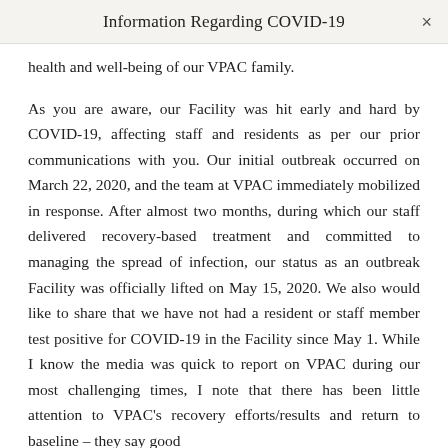Information Regarding COVID-19
health and well-being of our VPAC family.
As you are aware, our Facility was hit early and hard by COVID-19, affecting staff and residents as per our prior communications with you. Our initial outbreak occurred on March 22, 2020, and the team at VPAC immediately mobilized in response. After almost two months, during which our staff delivered recovery-based treatment and committed to managing the spread of infection, our status as an outbreak Facility was officially lifted on May 15, 2020. We also would like to share that we have not had a resident or staff member test positive for COVID-19 in the Facility since May 1. While I know the media was quick to report on VPAC during our most challenging times, I note that there has been little attention to VPAC's recovery efforts/results and return to baseline – they say good